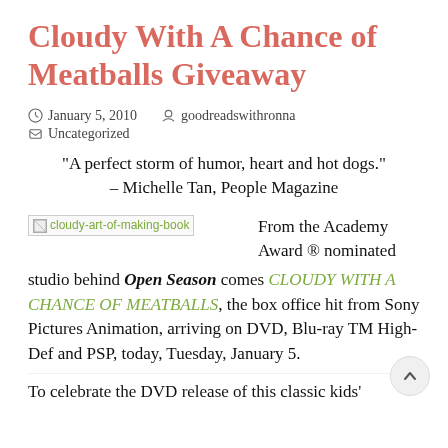Cloudy With A Chance of Meatballs Giveaway
January 5, 2010   goodreadswithronna   Uncategorized
“A perfect storm of humor, heart and hot dogs.” – Michelle Tan, People Magazine
[Figure (photo): Broken image placeholder for cloudy-art-of-making-book]
From the Academy Award ® nominated studio behind Open Season comes CLOUDY WITH A CHANCE OF MEATBALLS, the box office hit from Sony Pictures Animation, arriving on DVD, Blu-ray TM High-Def and PSP, today, Tuesday, January 5.
To celebrate the DVD release of this classic kids'